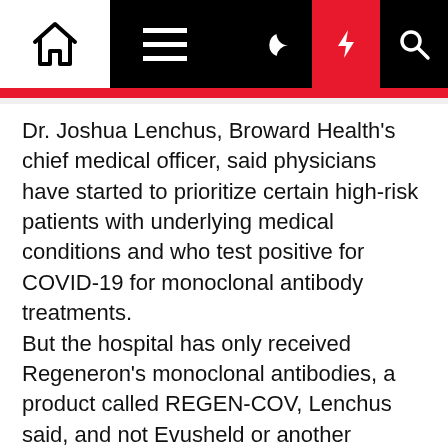Navigation bar with home, menu, dark mode, lightning/breaking, and search icons
Dr. Joshua Lenchus, Broward Health's chief medical officer, said physicians have started to prioritize certain high-risk patients with underlying medical conditions and who test positive for COVID-19 for monoclonal antibody treatments.
But the hospital has only received Regeneron's monoclonal antibodies, a product called REGEN-COV, Lenchus said, and not Evusheld or another monoclonal antibody that is known to be most effective against the omicron variant, a drug called sotrovimab.
Lenchus said REGEN-COV is indicated for people who may have been exposed to someone who is infectious, and who are at high risk of developing severe disease due to an underlying medical